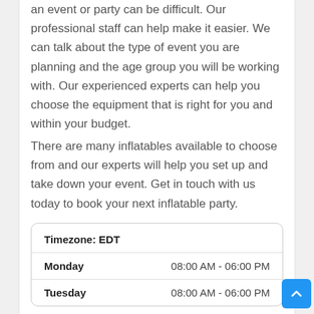an event or party can be difficult. Our professional staff can help make it easier. We can talk about the type of event you are planning and the age group you will be working with. Our experienced experts can help you choose the equipment that is right for you and within your budget.
There are many inflatables available to choose from and our experts will help you set up and take down your event. Get in touch with us today to book your next inflatable party.
|  |  |
| --- | --- |
| Timezone: EDT |  |
| Monday | 08:00 AM - 06:00 PM |
| Tuesday | 08:00 AM - 06:00 PM |